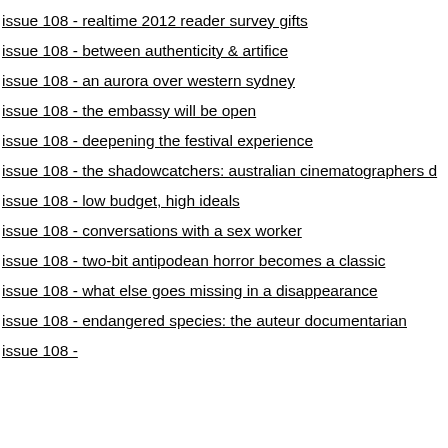issue 108 - realtime 2012 reader survey gifts
issue 108 - between authenticity & artifice
issue 108 - an aurora over western sydney
issue 108 - the embassy will be open
issue 108 - deepening the festival experience
issue 108 - the shadowcatchers: australian cinematographers d
issue 108 - low budget, high ideals
issue 108 - conversations with a sex worker
issue 108 - two-bit antipodean horror becomes a classic
issue 108 - what else goes missing in a disappearance
issue 108 - endangered species: the auteur documentarian
issue 108 -